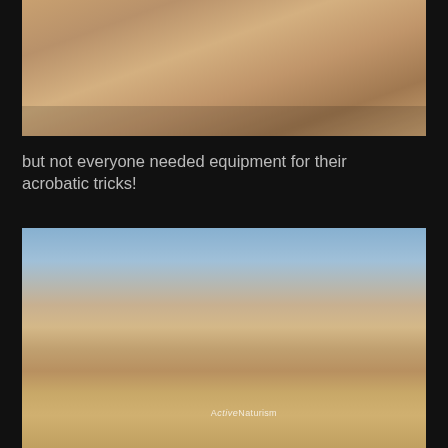[Figure (photo): Outdoor desert scene with people holding a large hoop/ring, sandy ground with shadows, warm tones]
but not everyone needed equipment for their acrobatic tricks!
[Figure (photo): Desert scene at Burning Man with people doing acrobatics outdoors, blue sky, structures in background, watermark reading ActiveNaturism]